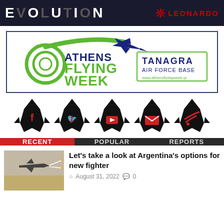[Figure (logo): Banner with 'EVOLUTION' text in white on dark background, and 'LEONARDO' logo in red on the right]
[Figure (logo): Athens Flying Week banner with green spiral airplane logo and 'TANAGRA AIR FORCE BASE' stamp, bordered in dark blue]
[Figure (infographic): Five fighter jet silhouettes each containing a social media icon: Facebook (f), Twitter (bird), YouTube (play), Email (envelope), RSS (wifi)]
RECENT | POPULAR | REPORTS
[Figure (photo): Fighter jet firing missiles in desert/hazy conditions]
Let's take a look at Argentina's options for new fighter
August 31, 2022   0